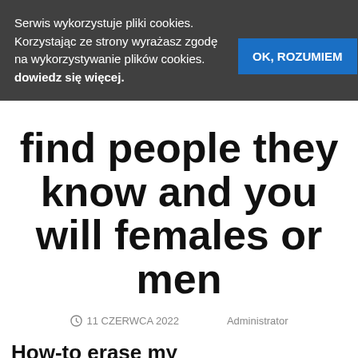Serwis wykorzystuje pliki cookies. Korzystając ze strony wyrażasz zgodę na wykorzystywanie plików cookies. dowiedz się więcej.
OK, ROZUMIEM
find people they know and you will females or men
11 CZERWCA 2022   Administrator
How-to erase my BlackPeopleMeet visibility?
Sadly, removing their character totally is hopeless.